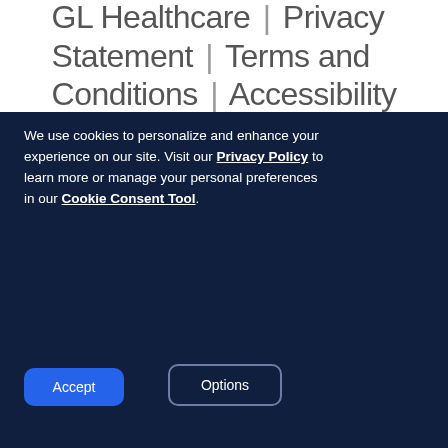GL Healthcare | Privacy Statement | Terms and Conditions | Accessibility
We use cookies to personalize and enhance your experience on our site. Visit our Privacy Policy to learn more or manage your personal preferences in our Cookie Consent Tool.
Accept
Options